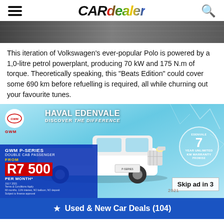CARdealer
[Figure (photo): Dark abstract background image strip at top of article]
This iteration of Volkswagen's ever-popular Polo is powered by a 1,0-litre petrol powerplant, producing 70 kW and 175 N.m of torque. Theoretically speaking, this "Beats Edition" could cover some 690 km before refuelling is required, all while churning out your favourite tunes.
[Figure (photo): GWM Haval Edenvale advertisement banner showing a white GWM P-Series Double Cab Passenger truck with price R7 500 per month, 7 Year Unlimited KM Warranty badge, and Skip ad in 3 button]
Used & New Car Deals (104)